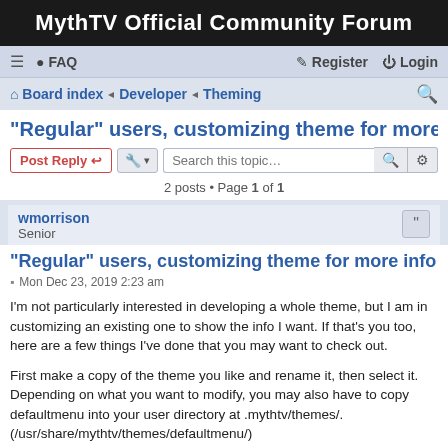MythTV Official Community Forum
≡  FAQ    Register  Login
Board index · Developer · Theming
"Regular" users, customizing theme for more info
Post Reply   [tools]   Search this topic…   [search] [advanced]
2 posts • Page 1 of 1
wmorrison
Senior
"Regular" users, customizing theme for more info
Mon Dec 23, 2019 2:23 am
I'm not particularly interested in developing a whole theme, but I am in customizing an existing one to show the info I want. If that's you too, here are a few things I've done that you may want to check out.
First make a copy of the theme you like and rename it, then select it. Depending on what you want to modify, you may also have to copy defaultmenu into your user directory at .mythtv/themes/. (/usr/share/mythtv/themes/defaultmenu/)